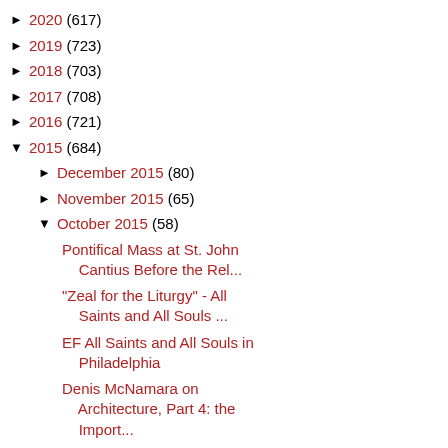▶ 2020 (617)
▶ 2019 (723)
▶ 2018 (703)
▶ 2017 (708)
▶ 2016 (721)
▼ 2015 (684)
▶ December 2015 (80)
▶ November 2015 (65)
▼ October 2015 (58)
Pontifical Mass at St. John Cantius Before the Rel...
"Zeal for the Liturgy" - All Saints and All Souls ...
EF All Saints and All Souls in Philadelphia
Denis McNamara on Architecture, Part 4: the Import...